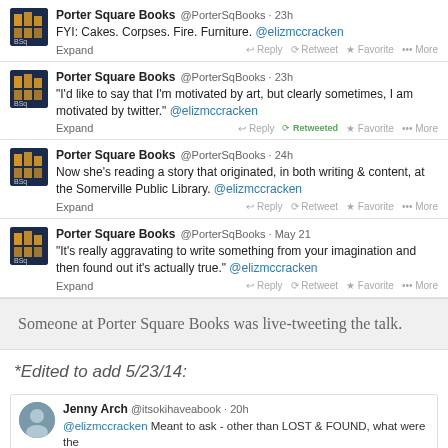[Figure (screenshot): Tweet from Porter Square Books @PorterSqBooks 23h: FYI: Cakes. Corpses. Fire. Furniture. @elizmccracken]
[Figure (screenshot): Tweet from Porter Square Books @PorterSqBooks 23h: 'I'd like to say that I'm motivated by art, but clearly sometimes, I am motivated by twitter.' @elizmccracken - Retweeted]
[Figure (screenshot): Tweet from Porter Square Books @PorterSqBooks 24h: Now she's reading a story that originated, in both writing & content, at the Somerville Public Library. @elizmccracken]
[Figure (screenshot): Tweet from Porter Square Books @PorterSqBooks May 21: 'It's really aggravating to write something from your imagination and then found out it's actually true.' @elizmccracken]
Someone at Porter Square Books was live-tweeting the talk.
*Edited to add 5/23/14:
[Figure (screenshot): Tweet from Jenny Arch @itsokihaveabook 20h: @elizmccracken Meant to ask - other than LOST & FOUND, what were the]